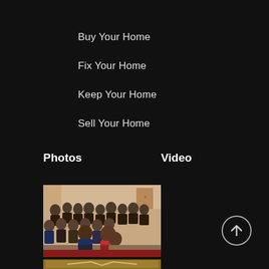Buy Your Home
Fix Your Home
Keep Your Home
Sell Your Home
Photos
Video
[Figure (photo): A crowded indoor event with many people seated in rows in an auditorium or meeting room setting]
[Figure (photo): Partial view of a second photo at the bottom, appears to show a framed image with gold/yellow decorative elements]